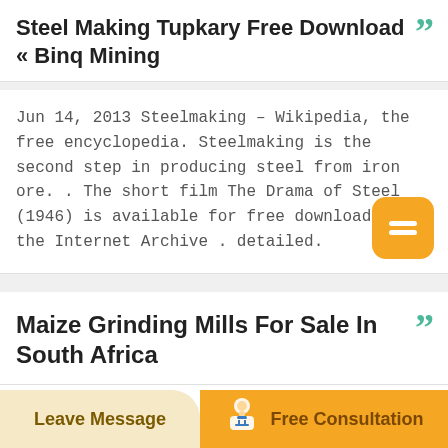Steel Making Tupkary Free Download « Binq Mining
Jun 14, 2013 Steelmaking – Wikipedia, the free encyclopedia. Steelmaking is the second step in producing steel from iron ore. . The short film The Drama of Steel (1946) is available for free download at the Internet Archive . detailed.
Maize Grinding Mills For Sale In South Africa
Lister grinding mill for sale in south africa
Leave Message   Free Consultation